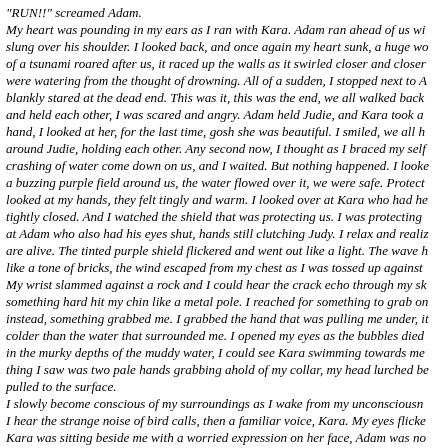"RUN!!" screamed Adam.
My heart was pounding in my ears as I ran with Kara. Adam ran ahead of us wi slung over his shoulder. I looked back, and once again my heart sunk, a huge wo of a tsunami roared after us, it raced up the walls as it swirled closer and closer were watering from the thought of drowning. All of a sudden, I stopped next to A blankly stared at the dead end. This was it, this was the end, we all walked back and held each other, I was scared and angry. Adam held Judie, and Kara took a hand, I looked at her, for the last time, gosh she was beautiful. I smiled, we all h around Judie, holding each other. Any second now, I thought as I braced my self crashing of water come down on us, and I waited. But nothing happened. I looke a buzzing purple field around us, the water flowed over it, we were safe. Protect looked at my hands, they felt tingly and warm. I looked over at Kara who had he tightly closed. And I watched the shield that was protecting us. I was protecting at Adam who also had his eyes shut, hands still clutching Judy. I relax and realiz are alive. The tinted purple shield flickered and went out like a light. The wave h like a tone of bricks, the wind escaped from my chest as I was tossed up against My wrist slammed against a rock and I could hear the crack echo through my sk something hard hit my chin like a metal pole. I reached for something to grab on instead, something grabbed me. I grabbed the hand that was pulling me under, it colder than the water that surrounded me. I opened my eyes as the bubbles died in the murky depths of the muddy water, I could see Kara swimming towards me thing I saw was two pale hands grabbing ahold of my collar, my head lurched be pulled to the surface.
I slowly become conscious of my surroundings as I wake from my unconsciousn I hear the strange noise of bird calls, then a familiar voice, Kara. My eyes flicke Kara was sitting beside me with a worried expression on her face, Adam was no seen. Water rushed up to my throat and I turned away from Kara and spewed it looked over at me and whispered: "you're gonna be okay". We were sitting on a